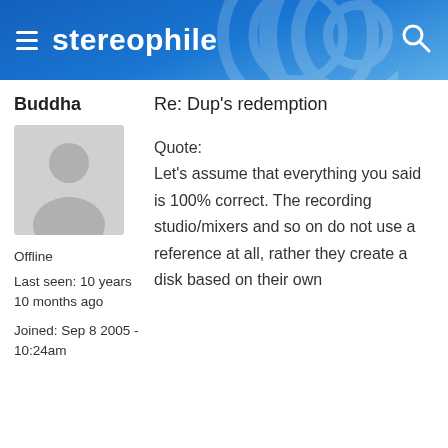stereophile
Buddha
Re: Dup's redemption
[Figure (illustration): Generic silhouette avatar placeholder image in grey tones]
Offline
Last seen: 10 years 10 months ago
Joined: Sep 8 2005 - 10:24am
Quote: Let's assume that everything you said is 100% correct. The recording studio/mixers and so on do not use a reference at all, rather they create a disk based on their own